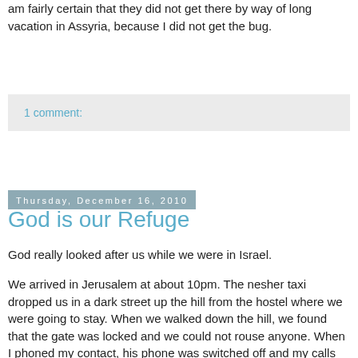am fairly certain that they did not get there by way of long vacation in Assyria, because I did not get the bug.
1 comment:
Thursday, December 16, 2010
God is our Refuge
God really looked after us while we were in Israel.
We arrived in Jerusalem at about 10pm. The nesher taxi dropped us in a dark street up the hill from the hostel where we were going to stay. When we walked down the hill, we found that the gate was locked and we could not rouse anyone. When I phoned my contact, his phone was switched off and my calls went straight to voicemail.
We were standing in the dark street wondering what to do, when a young man approached asking us if we needed help. It turned out that he was a volunteer at the hostel. He had gone out for a walk, but because it was colder than he